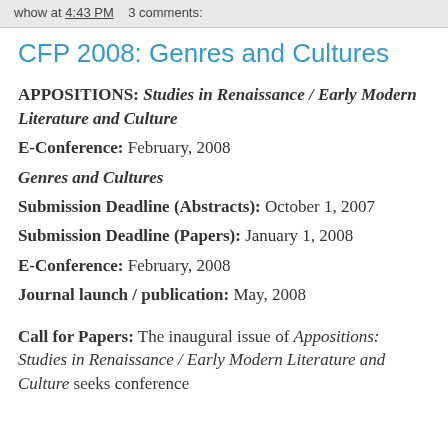whow at 4:43 PM    3 comments:
CFP 2008: Genres and Cultures
APPOSITIONS: Studies in Renaissance / Early Modern Literature and Culture
E-Conference: February, 2008
Genres and Cultures
Submission Deadline (Abstracts): October 1, 2007
Submission Deadline (Papers): January 1, 2008
E-Conference: February, 2008
Journal launch / publication: May, 2008
Call for Papers: The inaugural issue of Appositions: Studies in Renaissance / Early Modern Literature and Culture seeks conference